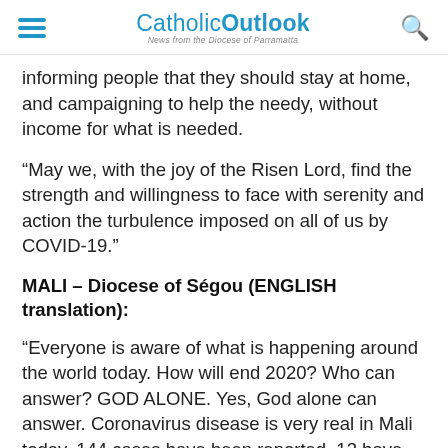CatholicOutlook — News from the Diocese of Parramatta
informing people that they should stay at home, and campaigning to help the needy, without income for what is needed.
“May we, with the joy of the Risen Lord, find the strength and willingness to face with serenity and action the turbulence imposed on all of us by COVID-19.”
MALI – Diocese of Ségou (ENGLISH translation):
“Everyone is aware of what is happening around the world today. How will end 2020? Who can answer? GOD ALONE. Yes, God alone can answer. Coronavirus disease is very real in Mali today. 144 cases have been reported. 13 have died (press